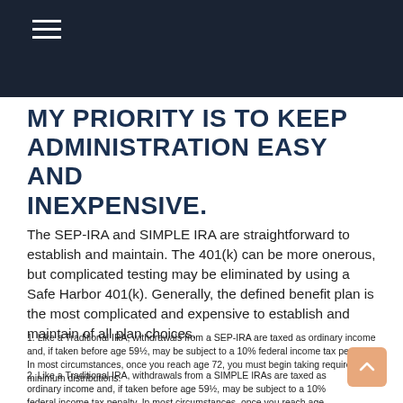MY PRIORITY IS TO KEEP ADMINISTRATION EASY AND INEXPENSIVE.
The SEP-IRA and SIMPLE IRA are straightforward to establish and maintain. The 401(k) can be more onerous, but complicated testing may be eliminated by using a Safe Harbor 401(k). Generally, the defined benefit plan is the most complicated and expensive to establish and maintain of all plan choices.
1. Like a Traditional IRA, withdrawals from a SEP-IRA are taxed as ordinary income and, if taken before age 59½, may be subject to a 10% federal income tax penalty. In most circumstances, once you reach age 72, you must begin taking required minimum distributions.
2. Like a Traditional IRA, withdrawals from a SIMPLE IRAs are taxed as ordinary income and, if taken before age 59½, may be subject to a 10% federal income tax penalty. In most circumstances, once you reach age 72, you must begin taking required minimum distributions.